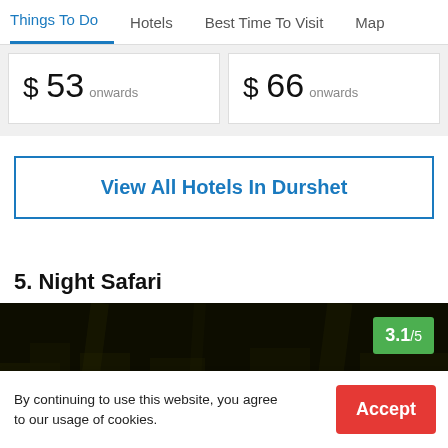Things To Do | Hotels | Best Time To Visit | Map
$ 53 onwards
$ 66 onwards
View All Hotels In Durshet
5. Night Safari
[Figure (photo): Dark night safari image with a green rating badge showing 3.1/5]
By continuing to use this website, you agree to our usage of cookies.